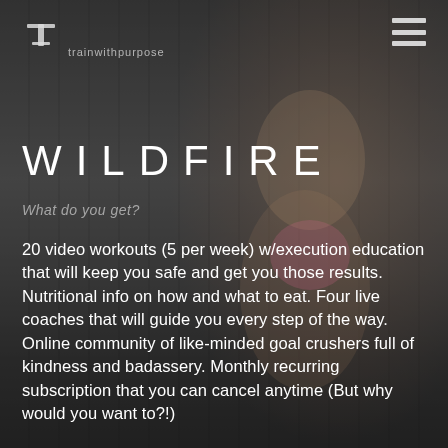[Figure (photo): Background photo of a fit blonde woman in a pink sports bra and patterned shorts, standing against a dark vertical wood-grain wall. The image serves as the full-page background for a fitness program promotional page.]
T [logo icon] [site name text]
WILDFIRE
What do you get?
20 video workouts (5 per week) w/execution education that will keep you safe and get you those results. Nutritional info on how and what to eat. Four live coaches that will guide you every step of the way. Online community of like-minded goal crushers full of kindness and badassery. Monthly recurring subscription that you can cancel anytime (But why would you want to?!)